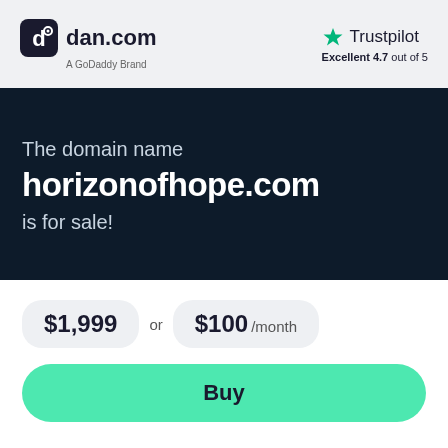[Figure (logo): dan.com logo with rounded square icon and text 'dan.com', subtitle 'A GoDaddy Brand']
[Figure (logo): Trustpilot logo with green star and text 'Trustpilot', rating 'Excellent 4.7 out of 5']
The domain name horizonofhope.com is for sale!
$1,999 or $100 /month
Buy